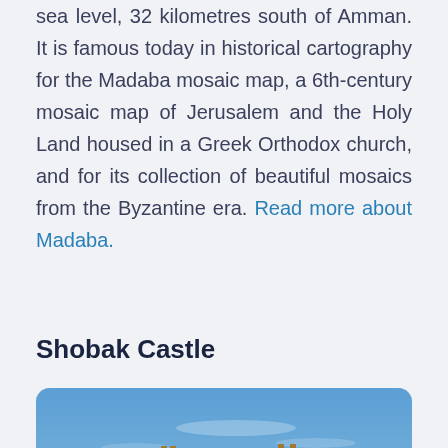sea level, 32 kilometres south of Amman. It is famous today in historical cartography for the Madaba mosaic map, a 6th-century mosaic map of Jerusalem and the Holy Land housed in a Greek Orthodox church, and for its collection of beautiful mosaics from the Byzantine era. Read more about Madaba.
Shobak Castle
[Figure (photo): Aerial view of Shobak Castle, a stone fortress ruins perched on top of a rocky hill in a dry desert landscape with blue sky in the background. An orange scroll-to-top button is visible in the lower left.]